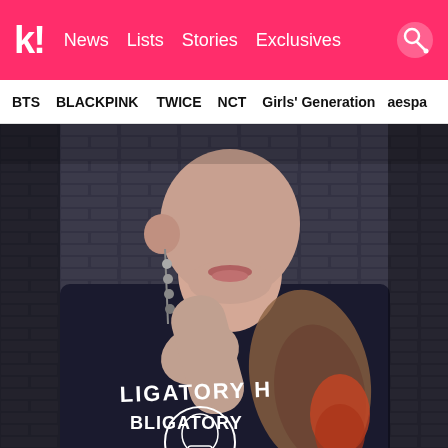k! News  Lists  Stories  Exclusives
BTS  BLACKPINK  TWICE  NCT  Girls' Generation  aespa
[Figure (photo): A young Asian man wearing a black t-shirt with 'OBLIGATORY H...' text and a skull graphic, showing tattooed forearm/arm sleeve, wearing bead earrings, posing against a brick wall background in a dark, moody editorial style photo.]